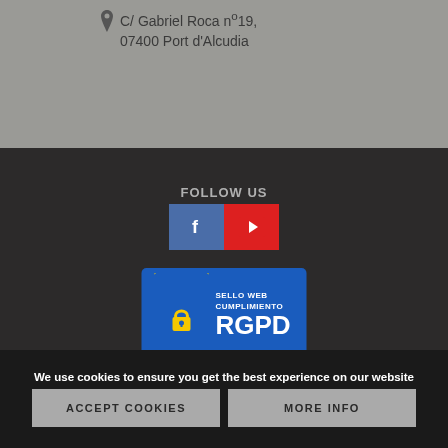C/ Gabriel Roca nº19, 07400 Port d'Alcudia
FOLLOW US
[Figure (illustration): Facebook and YouTube social media icons/buttons]
[Figure (logo): SELLO WEB CUMPLIMIENTO RGPD badge with EU stars and padlock]
Cookies Policy | © Mairata Properties 2017 – Real Estate Software by Trifocasa CRM S.L.
We use cookies to ensure you get the best experience on our website
ACCEPT COOKIES  MORE INFO